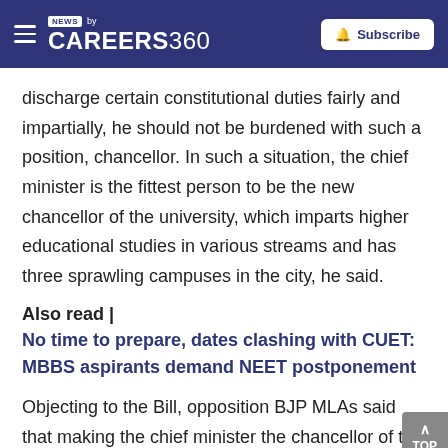NEWS by CAREERS360 | Subscribe
discharge certain constitutional duties fairly and impartially, he should not be burdened with such a position, chancellor. In such a situation, the chief minister is the fittest person to be the new chancellor of the university, which imparts higher educational studies in various streams and has three sprawling campuses in the city, he said.
Also read |
No time to prepare, dates clashing with CUET: MBBS aspirants demand NEET postponement
Objecting to the Bill, opposition BJP MLAs said that making the chief minister the chancellor of the